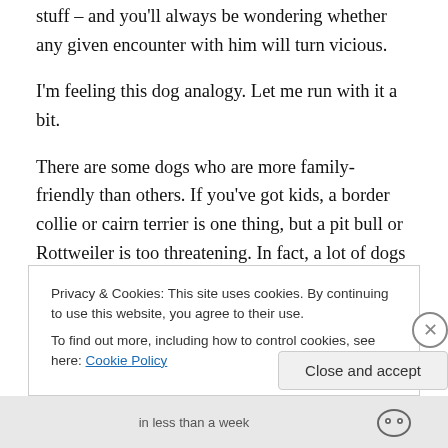stuff – and you'll always be wondering whether any given encounter with him will turn vicious.
I'm feeling this dog analogy. Let me run with it a bit.
There are some dogs who are more family-friendly than others. If you've got kids, a border collie or cairn terrier is one thing, but a pit bull or Rottweiler is too threatening. In fact, a lot of dogs are great workers, very loyal, all these great qualities, but they've had a fundamental flaw bred into them. Literally bred into them; their genes make them
Privacy & Cookies: This site uses cookies. By continuing to use this website, you agree to their use.
To find out more, including how to control cookies, see here: Cookie Policy
Close and accept
in less than a week